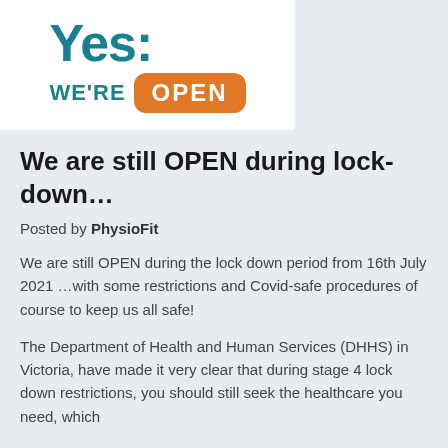[Figure (logo): Yes: WE'RE OPEN logo with teal text 'Yes:' and orange badge saying 'OPEN' alongside bold teal 'WE'RE' text on white background]
We are still OPEN during lock-down…
Posted by PhysioFit
We are still OPEN during the lock down period from 16th July 2021 …with some restrictions and Covid-safe procedures of course to keep us all safe!
The Department of Health and Human Services (DHHS) in Victoria, have made it very clear that during stage 4 lock down restrictions, you should still seek the healthcare you need, which includes physiotherapy.